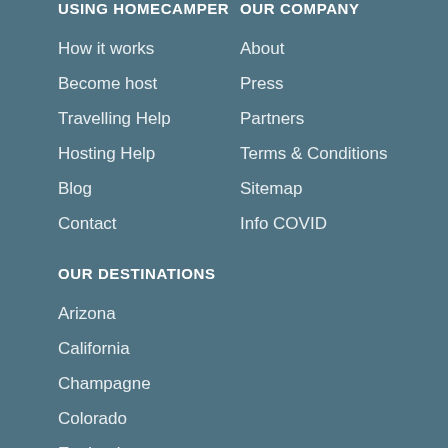USING HOMECAMPER
OUR COMPANY
How it works
About
Become host
Press
Travelling Help
Partners
Hosting Help
Terms & Conditions
Blog
Sitemap
Contact
Info COVID
OUR DESTINATIONS
Arizona
California
Champagne
Colorado
England